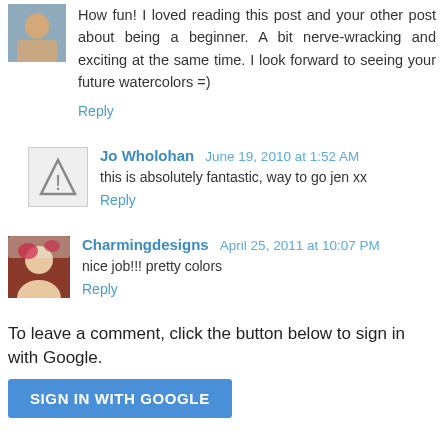How fun! I loved reading this post and your other post about being a beginner. A bit nerve-wracking and exciting at the same time. I look forward to seeing your future watercolors =)
Reply
Jo Wholohan  June 19, 2010 at 1:52 AM
this is absolutely fantastic, way to go jen xx
Reply
Charmingdesigns  April 25, 2011 at 10:07 PM
nice job!!! pretty colors
Reply
To leave a comment, click the button below to sign in with Google.
SIGN IN WITH GOOGLE